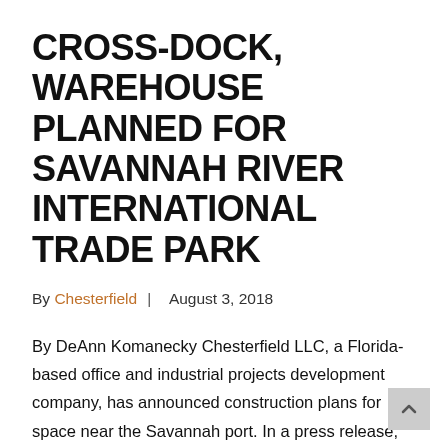CROSS-DOCK, WAREHOUSE PLANNED FOR SAVANNAH RIVER INTERNATIONAL TRADE PARK
By Chesterfield  |  August 3, 2018
By DeAnn Komanecky Chesterfield LLC, a Florida-based office and industrial projects development company, has announced construction plans for space near the Savannah port. In a press release, Chesterfield officials said they have subdivided a parcel of about 138 acres leased from the Georgia Ports Authority to three different clients. The property is located at the Savannah...